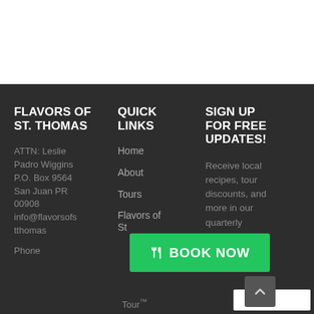FLAVORS OF ST. THOMAS
ATTN: Leslie Padro Wiggins P.O. Box 9564 San Juan PR 00908 info@flavorsofsttthomas
Phone
QUICK LINKS
Home
About
Tours
Flavors of St
Tour™
SIGN UP FOR FREE UPDATES!
Receive local recipes, tour discounts, and more in our quarterly newsletter.
[Figure (other): Green BOOK NOW button with fork/knife icon]
[Figure (other): Scroll-to-top arrow button (grey square with up caret)]
[Figure (other): White input box at bottom right]